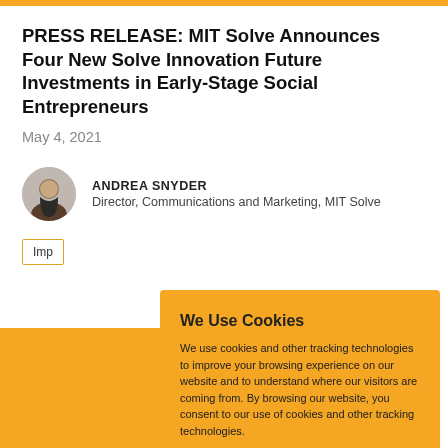PRESS RELEASE: MIT Solve Announces Four New Solve Innovation Future Investments in Early-Stage Social Entrepreneurs
May 4, 2021
ANDREA SNYDER
Director, Communications and Marketing, MIT Solve
Imp
[Figure (screenshot): Cookie consent modal overlay on an orange background with 'We Use Cookies' heading, body text about tracking technologies, and two blue buttons labeled ACCEPT and REJECT]